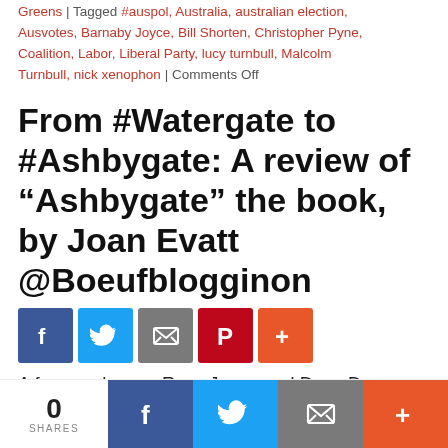Greens | Tagged #auspol, Australia, australian election, Ausvotes, Barnaby Joyce, Bill Shorten, Christopher Pyne, Coalition, Labor, Liberal Party, lucy turnbull, Malcolm Turnbull, nick xenophon | Comments Off
From #Watergate to #Ashbygate: A review of “Ashbygate” the book, by Joan Evatt @Boeufblogginon
[Figure (other): Social share buttons: Facebook (blue), Twitter (light blue), Email/envelope (gray), Pinterest (red), More/plus (orange-red)]
A few weeks ago Ross Jones and Dave Donovan, of Independent Australia, sent me messages asking me to review Ross’s book on the Ashbygate saga. Despite being as crook as
[Figure (other): Bottom share bar: share count 0 SHARES, Facebook button (dark blue), Twitter button (light blue), Email/envelope button (gray), More/plus button (orange-red)]